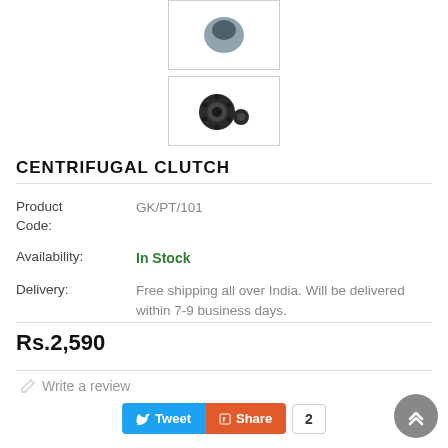[Figure (photo): Small thumbnail image of centrifugal clutch product (top), partially visible]
[Figure (photo): Small thumbnail image of centrifugal clutch product (bottom), showing black gear-like clutch components]
CENTRIFUGAL CLUTCH
| Product Code: | GK/PT/101 |
| Availability: | In Stock |
| Delivery: | Free shipping all over India. Will be delivered within 7-9 business days. |
Rs.2,590
Write a review
Tweet  Share  2